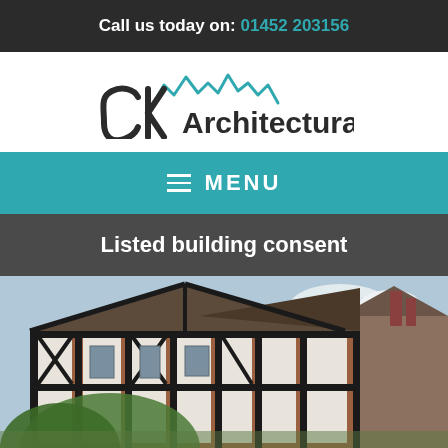Call us today on: 01452 203156
[Figure (logo): CK Architectural logo with stylized skyline graphic above the text]
≡ MENU
Listed building consent
[Figure (photo): Photograph of a historic Tudor-style listed building with black and white timber framing, red brick, and chimneys under a cloudy sky]